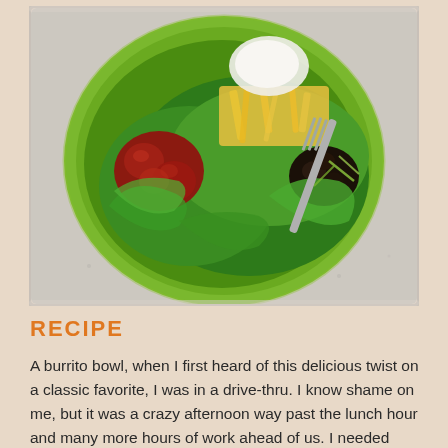[Figure (photo): A green bowl filled with a burrito bowl — romaine lettuce, shredded cheese, salsa/tomato chunks, black beans, sour cream, and a fork resting in the bowl, photographed from above on a light speckled surface.]
RECIPE
A burrito bowl, when I first heard of this delicious twist on a classic favorite, I was in a drive-thru. I know shame on me, but it was a crazy afternoon way past the lunch hour and many more hours of work ahead of us. I needed food, fast hence the drive-thru. Being a vegetarian drive-thru food is